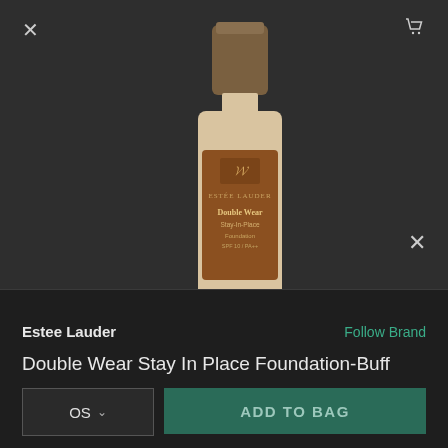[Figure (photo): Estee Lauder Double Wear Stay In Place Foundation bottle in Buff shade, shown on dark background with gold cap]
+25
260
Estee Lauder
Follow Brand
Double Wear Stay In Place Foundation-Buff
OS
ADD TO BAG